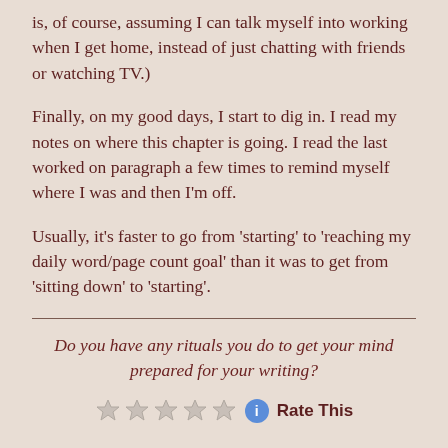is, of course, assuming I can talk myself into working when I get home, instead of just chatting with friends or watching TV.)
Finally, on my good days, I start to dig in. I read my notes on where this chapter is going. I read the last worked on paragraph a few times to remind myself where I was and then I'm off.
Usually, it's faster to go from ‘starting’ to ‘reaching my daily word/page count goal’ than it was to get from ‘sitting down’ to ‘starting’.
Do you have any rituals you do to get your mind prepared for your writing?
Rate This